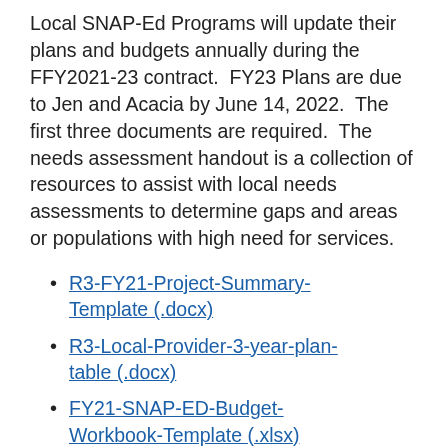Local SNAP-Ed Programs will update their plans and budgets annually during the FFY2021-23 contract. FY23 Plans are due to Jen and Acacia by June 14, 2022. The first three documents are required. The needs assessment handout is a collection of resources to assist with local needs assessments to determine gaps and areas or populations with high need for services.
R3-FY21-Project-Summary-Template (.docx)
R3-Local-Provider-3-year-plan-table (.docx)
FY21-SNAP-ED-Budget-Workbook-Template (.xlsx)
Needs Assessment